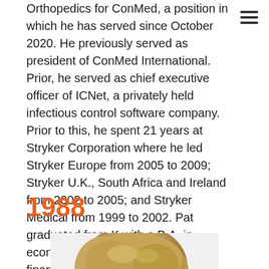Orthopedics for ConMed, a position in which he has served since October 2020. He previously served as president of ConMed International. Prior, he served as chief executive officer of ICNet, a privately held infectious control software company. Prior to this, he spent 21 years at Stryker Corporation where he led Stryker Europe from 2005 to 2009; Stryker U.K., South Africa and Ireland from 2002 to 2005; and Stryker Medical from 1999 to 2002. Pat graduated from K with a B.A. in economics, obtained his M.B.A. in finance from Western Michigan University and attended Harvard Business School's Advanced Management Program.
1988
[Figure (photo): Headshot photo of a person with blonde hair, partially visible from the top of the frame]